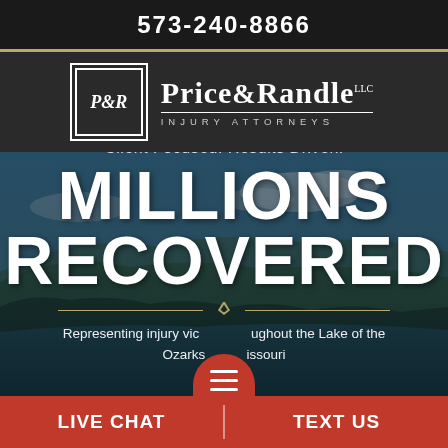573-240-8866
[Figure (logo): Price & Randle LLC Injury Attorneys logo with P&R monogram in bordered box]
[Figure (photo): Hero section with aerial photo of Lake of the Ozarks, Missouri, overlaid with text: Client Focused. Results Driven. MILLIONS RECOVERED. Representing injury victims throughout the Lake of the Ozarks Missouri. Red hamburger menu button.]
LIVE CHAT | TEXT US